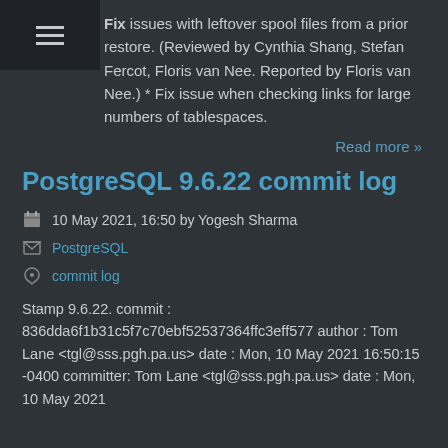Fix issues with leftover spool files from a prior restore. (Reviewed by Cynthia Shang, Stefan Fercot, Floris van Nee. Reported by Floris van Nee.) * Fix issue when checking links for large numbers of tablespaces.
Read more »
PostgreSQL 9.6.22 commit log
10 May 2021, 16:50 by Yogesh Sharma
PostgreSQL
commit log
Stamp 9.6.22. commit : 836dda6f1b31c5f7c70ebf52537364ffc3eff577 author : Tom Lane <tgl@sss.pgh.pa.us> date : Mon, 10 May 2021 16:50:15 -0400 committer: Tom Lane <tgl@sss.pgh.pa.us> date : Mon, 10 May 2021